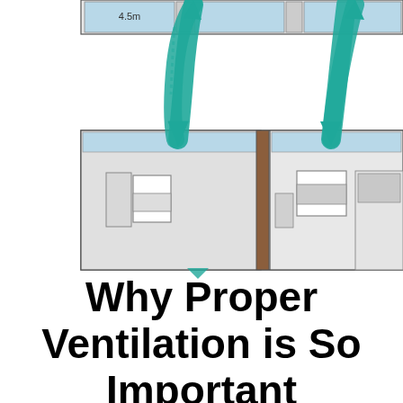[Figure (schematic): Building floor plan / cross-section diagram showing rooms with furniture (desks, appliances, door) viewed from above, overlaid with large teal/cyan curved arrows indicating airflow patterns — arrows flowing down from top, up through interior, and curving around rooms to show ventilation circulation.]
Why Proper Ventilation is So Important